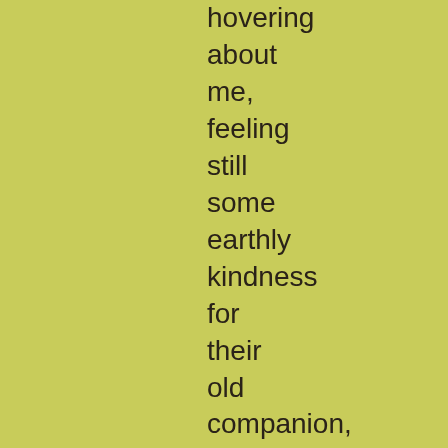hovering about me, feeling still some earthly kindness for their old companion, and watching his decay. 'He is weaker, he